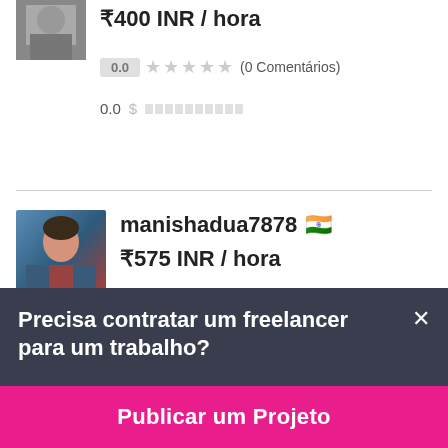₹400 INR / hora
0.0 ★★★★★ (0 Comentários)
0.0
manishadua7878 🇮🇳
₹575 INR / hora
0.0 ★★★★★ (0 Comentários)
0.0
Precisa contratar um freelancer para um trabalho?
Publicar um Projeto